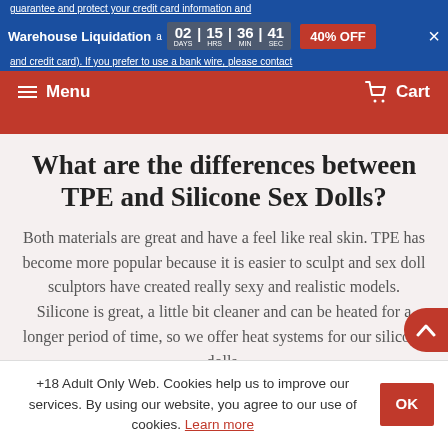guarantee and protect your credit card information and
Warehouse Liquidation  02 DAYS | 15 HRS | 36 MIN | 41 SEC  40% OFF  ×
and credit card). If you prefer to use a bank wire, please contact
Menu  Cart
What are the differences between TPE and Silicone Sex Dolls?
Both materials are great and have a feel like real skin. TPE has become more popular because it is easier to sculpt and sex doll sculptors have created really sexy and realistic models. Silicone is great, a little bit cleaner and can be heated for a longer period of time, so we offer heat systems for our silicone dolls.
All our dolls have a flexible and fully articulated skeleton that will allow you to use them in any position you ever imagined. A
+18 Adult Only Web. Cookies help us to improve our services. By using our website, you agree to our use of cookies. Learn more